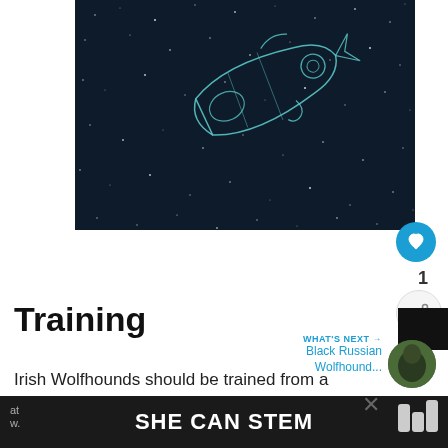[Figure (illustration): Dark space background with white star-like dots and a line-art illustration of a futuristic spacecraft or fish-like flying vehicle in teal/white outline]
Training
WHAT'S NEXT → Black Russian Wolfhound...
Irish Wolfhounds should be trained from a young
SHE CAN STEM